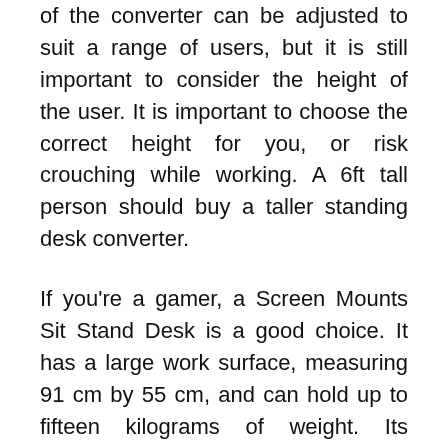of the converter can be adjusted to suit a range of users, but it is still important to consider the height of the user. It is important to choose the correct height for you, or risk crouching while working. A 6ft tall person should buy a taller standing desk converter.
If you're a gamer, a Screen Mounts Sit Stand Desk is a good choice. It has a large work surface, measuring 91 cm by 55 cm, and can hold up to fifteen kilograms of weight. Its spacious keyboard tray is perfect for gamers. It comes with eight locking positions. The converters are easy to assemble, too, which means you don't need any special tools. However, you should still check the weight limit of your desk before